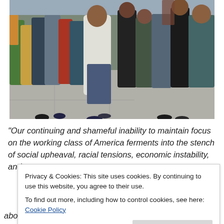[Figure (photo): A large crowd of people standing in a long line outdoors on a sidewalk, wearing winter clothing, appears to be a job or food assistance line in an urban setting.]
“Our continuing and shameful inability to maintain focus on the working class of America ferments into the stench of social upheaval, racial tensions, economic instability, and
Privacy & Cookies: This site uses cookies. By continuing to use this website, you agree to their use.
To find out more, including how to control cookies, see here: Cookie Policy
about economic matters, freedom, safety, and furthering